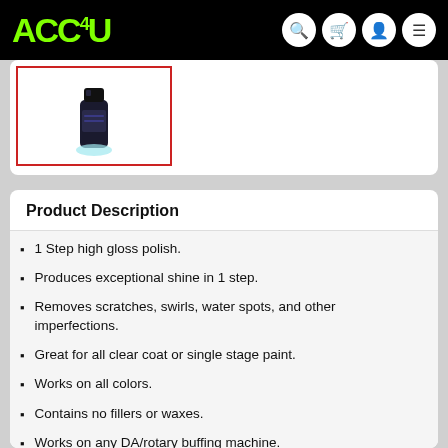ACC4U
[Figure (photo): Product thumbnail image of a black polish bottle with a light blue base, shown in a red-bordered thumbnail frame]
Product Description
1 Step high gloss polish.
Produces exceptional shine in 1 step.
Removes scratches, swirls, water spots, and other imperfections.
Great for all clear coat or single stage paint.
Works on all colors.
Contains no fillers or waxes.
Works on any DA/rotary buffing machine.